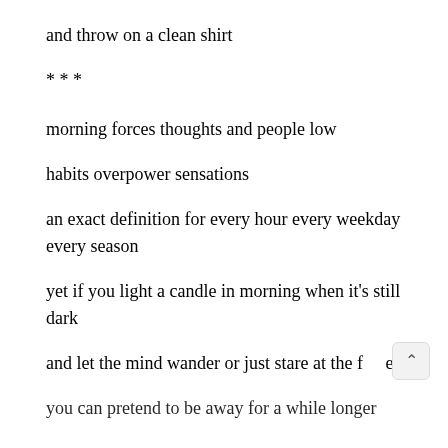and throw on a clean shirt
* * *
morning forces thoughts and people low
habits overpower sensations
an exact definition for every hour every weekday every season
yet if you light a candle in morning when it's still dark
and let the mind wander or just stare at the f  e
you can pretend to be away for a while longer